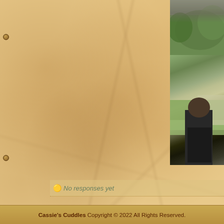[Figure (photo): Scrapbook page with tan/beige textured paper background resembling handmade or recycled paper, with binder holes on the left edge]
[Figure (photo): Partial photograph on the right side showing a person in dark clothing outdoors near trees and grass]
No responses yet
Cassie's Cuddles Copyright © 2022 All Rights Reserved.